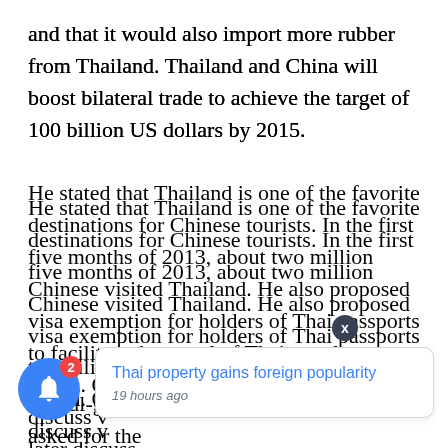and that it would also import more rubber from Thailand. Thailand and China will boost bilateral trade to achieve the target of 100 billion US dollars by 2015.

He stated that Thailand is one of the favorite destinations for Chinese tourists. In the first five months of 2013, about two million Chinese visited Thailand. He also proposed visa exemption for holders of Thai passports to facilitate the travel of Thai people to China. Officials of both countries will later discuss v…ries. Tha…consul-general in Qingdao, while China asked for the
[Figure (other): Blue circular notification bell icon with red badge showing number 2]
[Figure (other): Popup notification card with blue link text 'Thai property gains foreign popularity' and timestamp '19 hours ago', with a dark X close button]